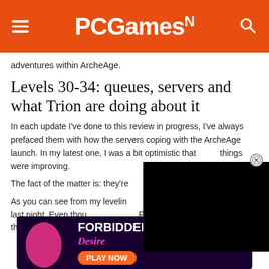PCGamesN
adventures within ArcheAge.
Levels 30-34: queues, servers and what Trion are doing about it
In each update I've done to this review in progress, I've always prefaced them with how the servers coping with the ArcheAge launch. In my latest one, I was a bit optimistic that things were improving.
The fact of the matter is: they're
As you can see from my levelin... play much last night. Even thou... Founders pack, and even though I'm technically a 'Patron
[Figure (screenshot): Black video player overlay in bottom-right of article]
[Figure (screenshot): Advertisement banner: Forbidden Desire 18+ PLAY NOW]